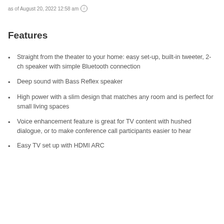as of August 20, 2022 12:58 am ⓘ
Features
Straight from the theater to your home: easy set-up, built-in tweeter, 2-ch speaker with simple Bluetooth connection
Deep sound with Bass Reflex speaker
High power with a slim design that matches any room and is perfect for small living spaces
Voice enhancement feature is great for TV content with hushed dialogue, or to make conference call participants easier to hear
Easy TV set up with HDMI ARC